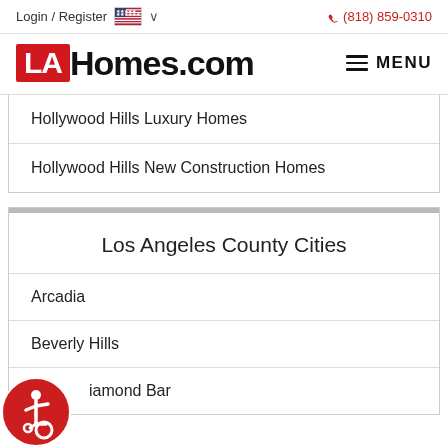Login / Register   🇺🇸 ∨   (818) 859-0310
[Figure (logo): LAHomes.com logo with red LA box and black Homes.com text, plus hamburger MENU button]
Hollywood Hills Luxury Homes
Hollywood Hills New Construction Homes
Los Angeles County Cities
Arcadia
Beverly Hills
Diamond Bar
[Figure (illustration): Accessibility wheelchair icon in red circle at bottom left]